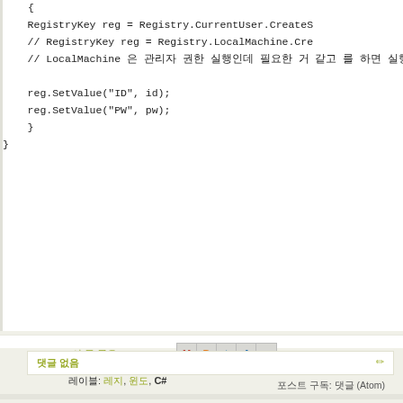{ RegistryKey reg = Registry.CurrentUser.CreateS... // RegistryKey reg = Registry.LocalMachine.Cre... // LocalMachine 은 관리자 권한 실행인데 필요한 거 같고 를 하면 실행 안 됨  reg.SetValue("ID", id); reg.SetValue("PW", pw); } }
이 글 공유:
[Figure (screenshot): Social share icons: Gmail, Blogger, Twitter, Facebook, Pinterest]
레이블: 레지, 윈도, C#
댓글 없음
포스트 구독: 댓글 (Atom)